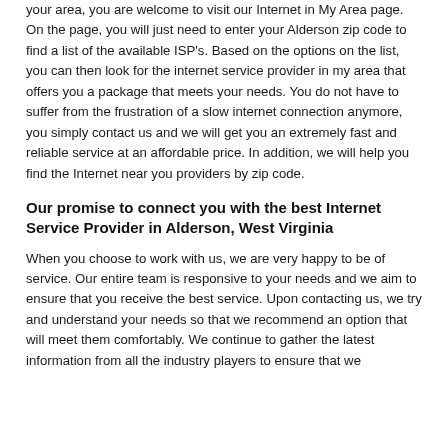your area, you are welcome to visit our Internet in My Area page. On the page, you will just need to enter your Alderson zip code to find a list of the available ISP's. Based on the options on the list, you can then look for the internet service provider in my area that offers you a package that meets your needs. You do not have to suffer from the frustration of a slow internet connection anymore, you simply contact us and we will get you an extremely fast and reliable service at an affordable price. In addition, we will help you find the Internet near you providers by zip code.
Our promise to connect you with the best Internet Service Provider in Alderson, West Virginia
When you choose to work with us, we are very happy to be of service. Our entire team is responsive to your needs and we aim to ensure that you receive the best service. Upon contacting us, we try and understand your needs so that we recommend an option that will meet them comfortably. We continue to gather the latest information from all the industry players to ensure that we